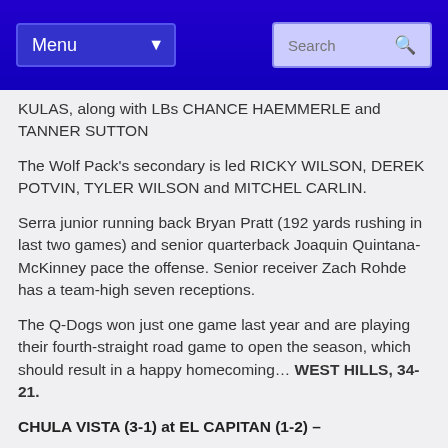Menu | Search
KULAS, along with LBs CHANCE HAEMMERLE and TANNER SUTTON
The Wolf Pack's secondary is led RICKY WILSON, DEREK POTVIN, TYLER WILSON and MITCHEL CARLIN.
Serra junior running back Bryan Pratt (192 yards rushing in last two games) and senior quarterback Joaquin Quintana-McKinney pace the offense. Senior receiver Zach Rohde has a team-high seven receptions.
The Q-Dogs won just one game last year and are playing their fourth-straight road game to open the season, which should result in a happy homecoming… WEST HILLS, 34-21.
CHULA VISTA (3-1) at EL CAPITAN (1-2) –